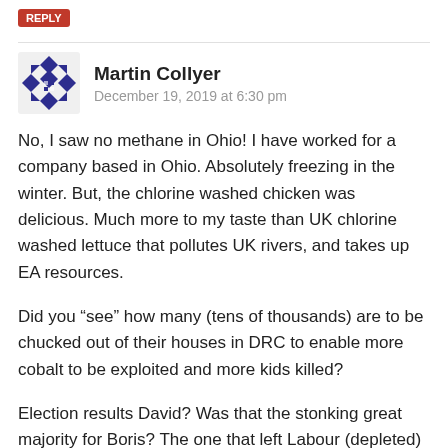[red label button at top]
Martin Collyer
December 19, 2019 at 6:30 pm
No, I saw no methane in Ohio! I have worked for a company based in Ohio. Absolutely freezing in the winter. But, the chlorine washed chicken was delicious. Much more to my taste than UK chlorine washed lettuce that pollutes UK rivers, and takes up EA resources.
Did you “see” how many (tens of thousands) are to be chucked out of their houses in DRC to enable more cobalt to be exploited and more kids killed?
Election results David? Was that the stonking great majority for Boris? The one that left Labour (depleted) front bench today looking like the old days